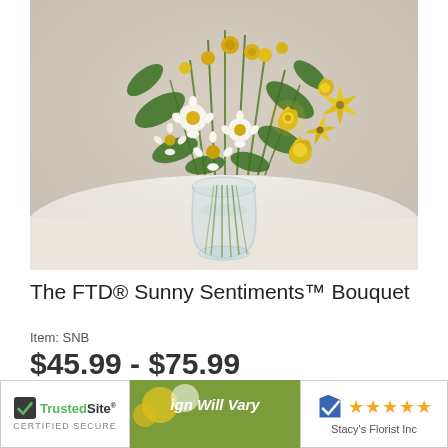[Figure (photo): A floral bouquet of yellow roses, white daisies, yellow alstroemeria, and green foliage in a clear glass jar vase on a white table, against a beige background.]
The FTD® Sunny Sentiments™ Bouquet
Item: SNB
$45.99 - $75.99
[Figure (logo): TrustedSite CERTIFIED SECURE badge with green checkmark logo]
[Figure (logo): Shopper Approved badge with 5 orange stars and text Stacy's Florist Inc]
[Figure (photo): Partial bottom strip showing a bouquet image with italic text 'ign Will Vary']